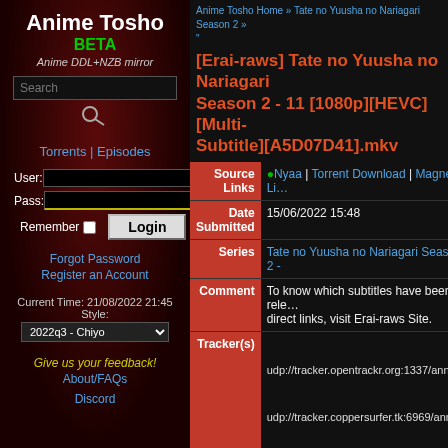Anime Tosho BETA
Anime DDL+NZB mirror
Torrents | Episodes
User: Pass: Remember Login
Forgot Password
Register an Account
Current Time: 21/08/2022 21:45
Style:
2022q3 - Chiyo
Give us your feedback!
About/FAQs
Discord
Anime Tosho Home » Tate no Yuusha no Nariagari Season 2 » "
[Erai-raws] Tate no Yuusha no Nariagari Season 2 - 11 [1080p][HEVC][Multi-Subtitle][A5D07D41].mkv
| Field | Value |
| --- | --- |
| Source Links | ●Nyaa | Torrent Download | Magnet Link |
| Date Submitted | 15/06/2022 15:48 |
| Series | Tate no Yuusha no Nariagari Season 2 - |
| Comment | To know which subtitles have been released and for direct links, visit Erai-raws Site. |
| Tracker(s) | udp://tracker.opentrackr.org:1337/anno
udp://tracker.coppersurfer.tk:6969/anno
http://anidex.moe:6969/announce |